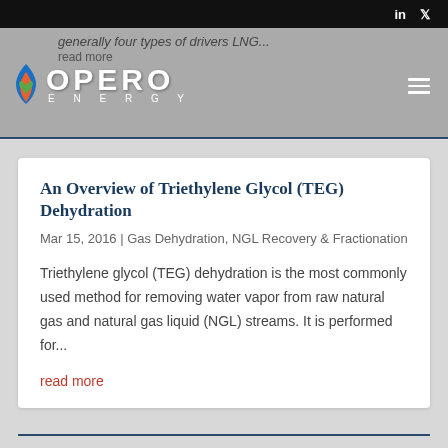generally four types of drivers LNG... read more
[Figure (logo): Opero Energy logo with flame icon and OPERO ENERGY text]
An Overview of Triethylene Glycol (TEG) Dehydration
Mar 15, 2016 | Gas Dehydration, NGL Recovery & Fractionation
Triethylene glycol (TEG) dehydration is the most commonly used method for removing water vapor from raw natural gas and natural gas liquid (NGL) streams. It is performed for...
read more